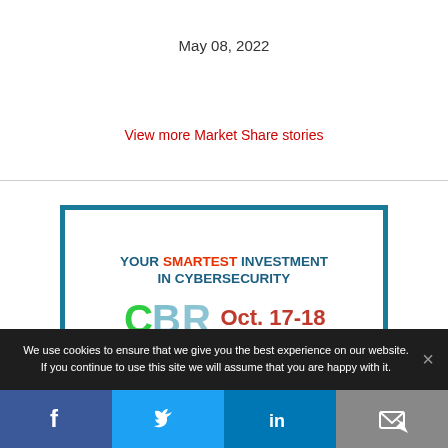May 08, 2022
View more Market Share stories
[Figure (infographic): CBR Cybersecurity for Broadcasters Retreat advertisement. Headline: YOUR SMARTEST INVESTMENT IN CYBERSECURITY. CBR logo with Oct. 17-18 date. A TVNewsCheck Conference At NAB Show NY. REGISTER NOW button in red.]
We use cookies to ensure that we give you the best experience on our website. If you continue to use this site we will assume that you are happy with it.
[Figure (infographic): Social sharing bar with Facebook, Twitter, LinkedIn, and email icons]